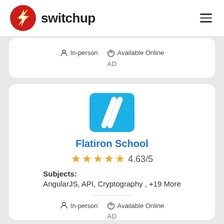switchup
In-person   Available Online
AD
[Figure (logo): Flatiron School logo - blue square with two white diagonal slashes]
Flatiron School
4.63/5
Subjects: AngularJS, API, Cryptography , +19 More
In-person   Available Online
AD